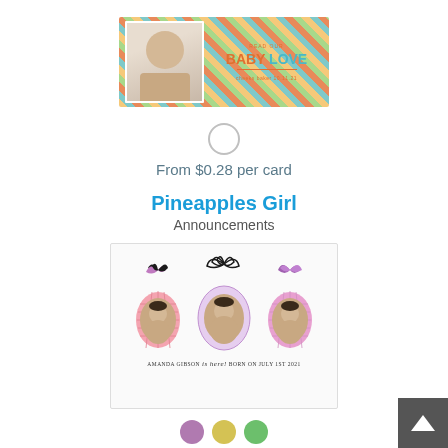[Figure (photo): Baby Love announcement card preview with diagonal multicolor stripes and a baby photo on left, text reads 'BABY LOVE' in orange and teal, 'cheeks baker 10.11.21']
[Figure (other): Empty radio button circle selector]
From $0.28 per card
Pineapples Girl
Announcements
[Figure (photo): Pineapples Girl announcement card showing three pineapple-shaped photo frames with a baby girl's photo, text reads 'AMANDA GIBSON is here! BORN ON JULY 1ST 2021']
[Figure (other): Three color swatches: purple, yellow, and green circles]